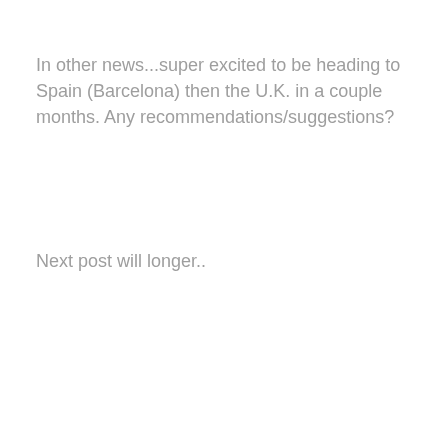In other news...super excited to be heading to Spain (Barcelona) then the U.K. in a couple months. Any recommendations/suggestions?
Next post will longer..